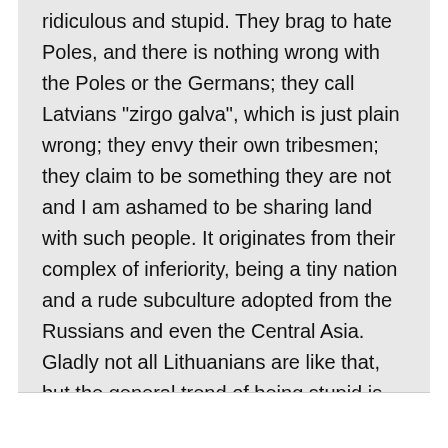ridiculous and stupid. They brag to hate Poles, and there is nothing wrong with the Poles or the Germans; they call Latvians “zirgo galva”, which is just plain wrong; they envy their own tribesmen; they claim to be something they are not and I am ashamed to be sharing land with such people. It originates from their complex of inferiority, being a tiny nation and a rude subculture adopted from the Russians and even the Central Asia. Gladly not all Lithuanians are like that, but the general trend of being stupid is right there and i pray it will change.